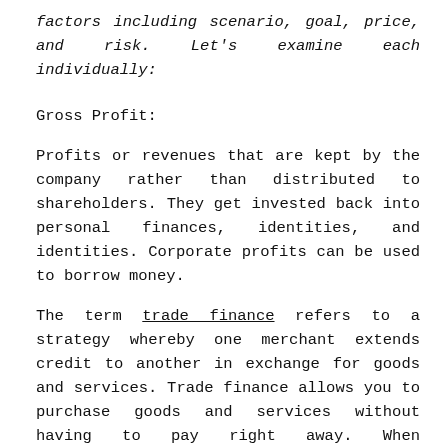factors including scenario, goal, price, and risk. Let's examine each individually:
Gross Profit:
Profits or revenues that are kept by the company rather than distributed to shareholders. They get invested back into personal finances, identities, and identities. Corporate profits can be used to borrow money.
The term trade finance refers to a strategy whereby one merchant extends credit to another in exchange for goods and services. Trade finance allows you to purchase goods and services without having to pay right away. When determining the amount and length of the credit, factors such as the success of the research, the financial situation of the purchaser, the size of the